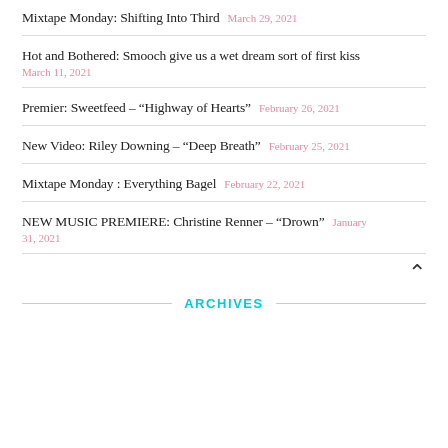Mixtape Monday: Shifting Into Third March 29, 2021
Hot and Bothered: Smooch give us a wet dream sort of first kiss March 11, 2021
Premier: Sweetfeed – “Highway of Hearts” February 26, 2021
New Video: Riley Downing – “Deep Breath” February 25, 2021
Mixtape Monday : Everything Bagel February 22, 2021
NEW MUSIC PREMIERE: Christine Renner – “Drown” January 31, 2021
ARCHIVES